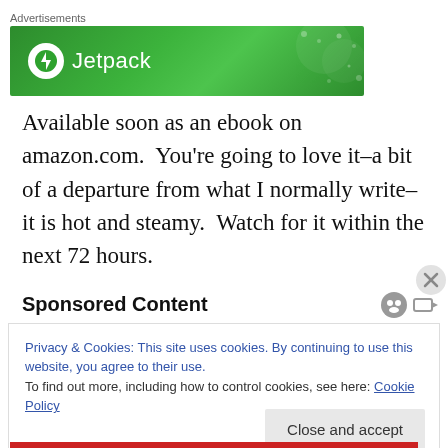[Figure (other): Jetpack advertisement banner with green background and Jetpack logo]
Available soon as an ebook on amazon.com.  You're going to love it–a bit of a departure from what I normally write–it is hot and steamy.  Watch for it within the next 72 hours.
Sponsored Content
Privacy & Cookies: This site uses cookies. By continuing to use this website, you agree to their use.
To find out more, including how to control cookies, see here: Cookie Policy